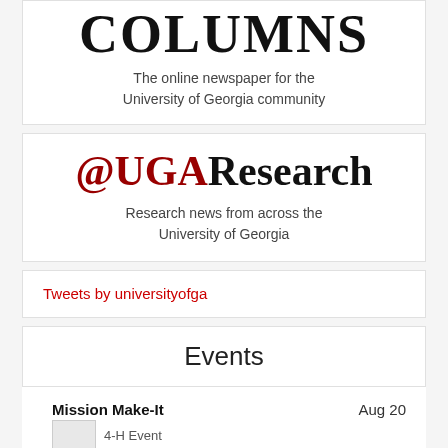Columns
The online newspaper for the University of Georgia community
@UGAResearch
Research news from across the University of Georgia
Tweets by universityofga
Events
Mission Make-It    Aug 20
4-H Event